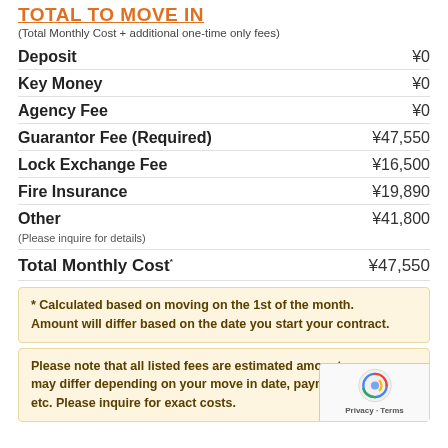TOTAL TO MOVE IN
(Total Monthly Cost + additional one-time only fees)
| Fee | Amount |
| --- | --- |
| Deposit | ¥0 |
| Key Money | ¥0 |
| Agency Fee | ¥0 |
| Guarantor Fee (Required) | ¥47,550 |
| Lock Exchange Fee | ¥16,500 |
| Fire Insurance | ¥19,890 |
| Other | ¥41,800 |
| (Please inquire for details) |  |
| Total Monthly Cost* | ¥47,550 |
* Calculated based on moving on the 1st of the month. Amount will differ based on the date you start your contract.
Please note that all listed fees are estimated amounts and may differ depending on your move in date, payment me... etc. Please inquire for exact costs.